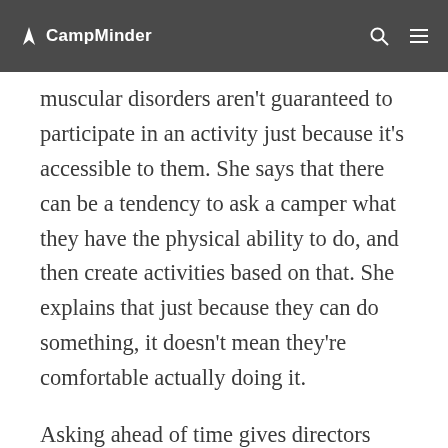CampMinder
...muscular disorders aren't guaranteed to participate in an activity just because it's accessible to them. She says that there can be a tendency to ask a camper what they have the physical ability to do, and then create activities based on that. She explains that just because they can do something, it doesn't mean they're comfortable actually doing it.
Asking ahead of time gives directors and counselors the information they